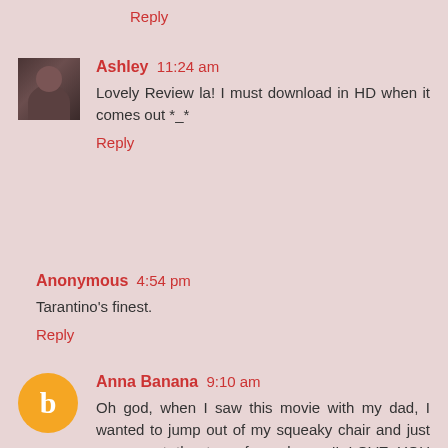Reply
Ashley 11:24 am
Lovely Review la! I must download in HD when it comes out *_*
Reply
Anonymous 4:54 pm
Tarantino's finest.
Reply
Anna Banana 9:10 am
Oh god, when I saw this movie with my dad, I wanted to jump out of my squeaky chair and just scream at the top of my lungs 'I LOVE YOU QUENTIN TARANTINO!'
I agree completely on Melanie Laurent -- one of the finest performances I've seen in a year filled with G.I Joes and